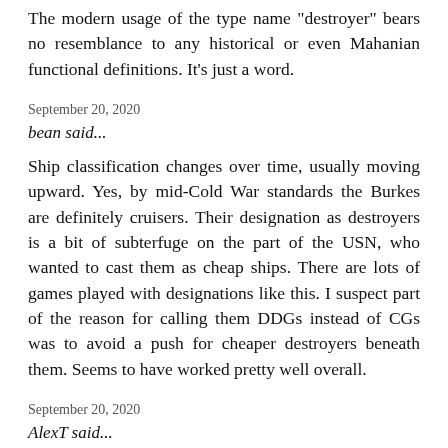The modern usage of the type name destroyer bears no resemblance to any historical or even Mahanian functional definitions. It's just a word.
September 20, 2020
bean said...
Ship classification changes over time, usually moving upward. Yes, by mid-Cold War standards the Burkes are definitely cruisers. Their designation as destroyers is a bit of subterfuge on the part of the USN, who wanted to cast them as cheap ships. There are lots of games played with designations like this. I suspect part of the reason for calling them DDGs instead of CGs was to avoid a push for cheaper destroyers beneath them. Seems to have worked pretty well overall.
September 20, 2020
AlexT said...